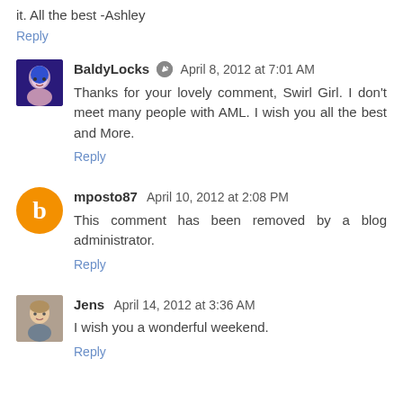it. All the best -Ashley
Reply
BaldyLocks  April 8, 2012 at 7:01 AM
Thanks for your lovely comment, Swirl Girl. I don't meet many people with AML. I wish you all the best and More.
Reply
mposto87  April 10, 2012 at 2:08 PM
This comment has been removed by a blog administrator.
Reply
Jens  April 14, 2012 at 3:36 AM
I wish you a wonderful weekend.
Reply